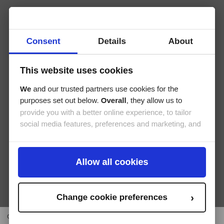claims of being biblical. We can only remember the often
[Figure (screenshot): Cookie consent modal dialog with tabs: Consent (active, blue), Details, About. Contains title 'This website uses cookies', body text about cookies usage, 'Allow all cookies' blue button, 'Change cookie preferences >' outlined button, and 'Powered by Cookiebot by Usercentrics' footer.]
Consent tab label (active)
Details tab label
About tab label
This website uses cookies
We and our trusted partners use cookies for the purposes set out below. Overall, they allow us to provide you with a better online experience, to tailor social media features, preferences and marketing, and
Allow all cookies
Change cookie preferences >
Powered by Cookiebot by Usercentrics